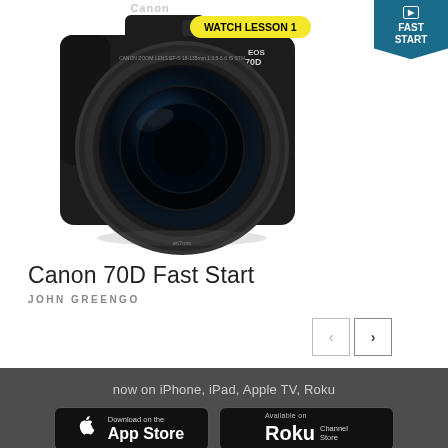[Figure (photo): Canon EOS 70D DSLR camera with 18-135mm lens, shown with a yellow 'WATCH LESSON 1' badge and a teal 'FAST START' pennant badge in the top right corner]
Canon 70D Fast Start
JOHN GREENGO
[Figure (other): Navigation arrows - previous and next buttons]
now on iPhone, iPad, Apple TV, Roku
[Figure (logo): Download on the App Store button]
[Figure (logo): Available on Roku Channel Store button]
[Figure (other): Social media icons: Facebook, Twitter, Instagram, Pinterest, YouTube]